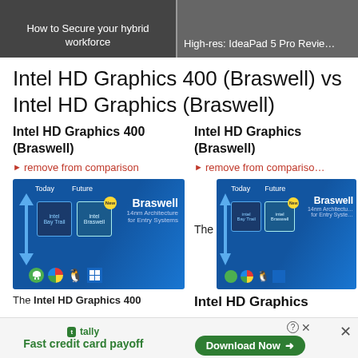How to Secure your hybrid workforce | High-res: IdeaPad 5 Pro Review
Intel HD Graphics 400 (Braswell) vs Intel HD Graphics (Braswell)
Intel HD Graphics 400 (Braswell)
Intel HD Graphics (Braswell)
remove from comparison
remove from comparison
[Figure (photo): Intel Braswell chip promotional image showing Today/Future roadmap with Braswell 14nm Architecture for Entry Systems branding and OS icons]
[Figure (photo): Intel Braswell chip promotional image showing Today/Future roadmap with Braswell 14nm Architecture for Entry Systems branding and OS icons]
The Intel HD Graphics 400
Intel HD Graphics
tally - Fast credit card payoff
Download Now